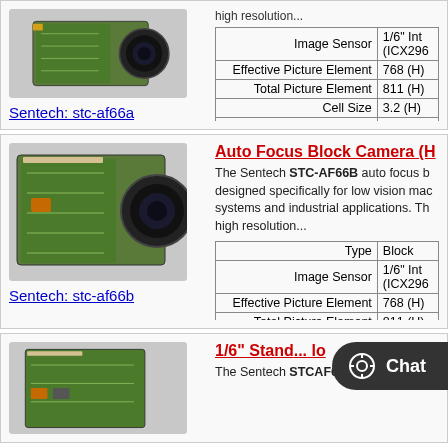[Figure (photo): Sentech stc-af66a auto focus block camera photo]
Sentech: stc-af66a
high resolution...
|  |  |
| --- | --- |
| Image Sensor | 1/6" Int (ICX296 |
| Effective Picture Element | 768 (H) |
| Total Picture Element | 811 (H) |
| Cell Size | 3.2 (H) |
| Scanning System | 2:1 Inte |
[Figure (photo): Sentech stc-af66b auto focus block camera photo]
Sentech: stc-af66b
Auto Focus Block Camera (H
The Sentech STC-AF66B auto focus block camera is designed specifically for low vision machine vision systems and industrial applications. Th... high resolution...
|  |  |
| --- | --- |
| Type | Block |
| Image Sensor | 1/6" Int (ICX296 |
| Effective Picture Element | 768 (H) |
| Total Picture Element | 811 (H) |
| Cell Size | 3.2 (H) |
[Figure (photo): Sentech STCAF66EA camera photo - partial]
1/6" Stand... lo
The Sentech STCAF66EA auto focus...